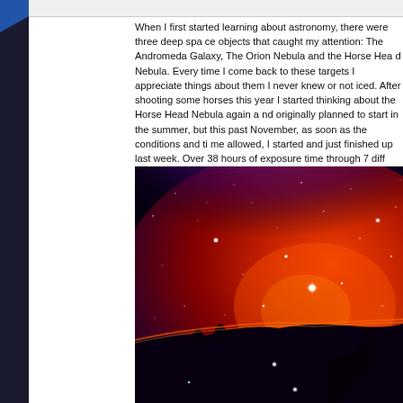When I first started learning about astronomy, there were three deep space objects that caught my attention: The Andromeda Galaxy, The Orion Nebula and the Horse Head Nebula. Every time I come back to these targets I appreciate things about them I never knew or noticed. After shooting some horses this year I started thinking about the Horse Head Nebula again and originally planned to start in the summer, but this past November, as soon as the conditions and time allowed, I started and just finished up last week. Over 38 hours of exposure time through 7 different filters over many different nights contributed to this final picture below. Its a combination of narrowband (NB), broad band (Ha, Oii & Siii), RGB (Red, Green & Blue) and Luminance (clear) fi
[Figure (photo): Astrophotography image of the Horsehead Nebula showing a deep red and orange emission nebula with a dark horse-head shaped pillar silhouetted against the glowing background, with numerous stars visible throughout the field.]